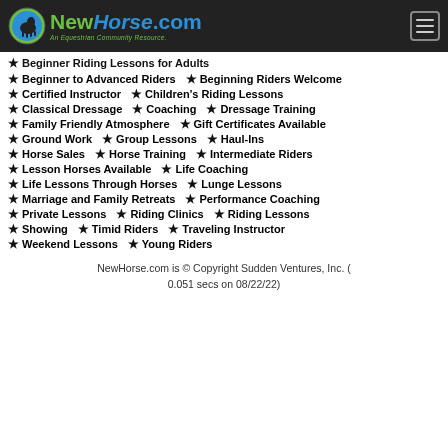NewHorse.com — An Equestrian Community Resource.
Beginner Riding Lessons for Adults
Beginner to Advanced Riders
Beginning Riders Welcome
Certified Instructor
Children's Riding Lessons
Classical Dressage
Coaching
Dressage Training
Family Friendly Atmosphere
Gift Certificates Available
Ground Work
Group Lessons
Haul-Ins
Horse Sales
Horse Training
Intermediate Riders
Lesson Horses Available
Life Coaching
Life Lessons Through Horses
Lunge Lessons
Marriage and Family Retreats
Performance Coaching
Private Lessons
Riding Clinics
Riding Lessons
Showing
Timid Riders
Traveling Instructor
Weekend Lessons
Young Riders
NewHorse.com is © Copyright Sudden Ventures, Inc. ( 0.051 secs on 08/22/22)